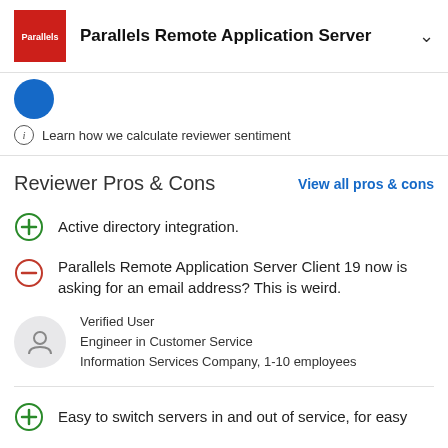Parallels Remote Application Server
Reviewer Pros & Cons
View all pros & cons
Learn how we calculate reviewer sentiment
Active directory integration.
Parallels Remote Application Server Client 19 now is asking for an email address? This is weird.
Verified User
Engineer in Customer Service
Information Services Company, 1-10 employees
Easy to switch servers in and out of service, for easy